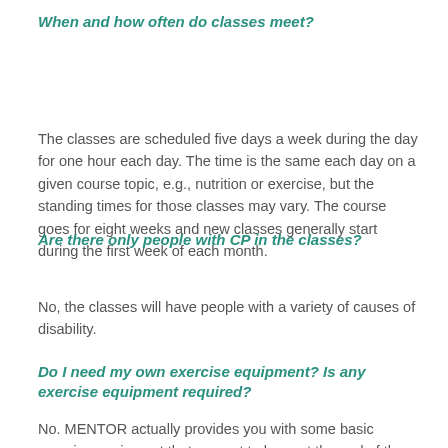When and how often do classes meet?
The classes are scheduled five days a week during the day for one hour each day. The time is the same each day on a given course topic, e.g., nutrition or exercise, but the standing times for those classes may vary. The course goes for eight weeks and new classes generally start during the first week of each month.
Are there only people with CP in the classes?
No, the classes will have people with a variety of causes of disability.
Do I need my own exercise equipment? Is any exercise equipment required?
No. MENTOR actually provides you with some basic exercise equipment that you get to keep at the end of the